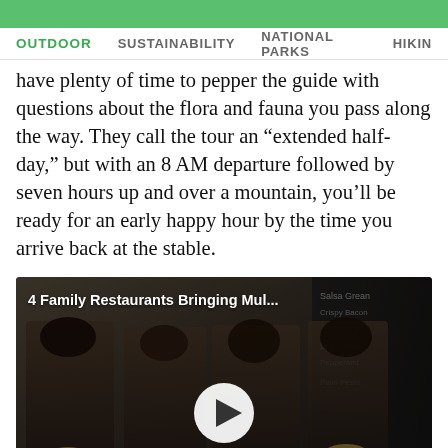OUTDOOR  SUSTAINABILITY  NATIONAL PARKS  HIKING
have plenty of time to pepper the guide with questions about the flora and fauna you pass along the way. They call the tour an “extended half-day,” but with an 8 AM departure followed by seven hours up and over a mountain, you’ll be ready for an early happy hour by the time you arrive back at the stable.
[Figure (screenshot): Video thumbnail showing four women in black uniforms holding plates of food in a restaurant setting, with a chalkboard menu visible in the background. A play button is centered on the image. Caption reads '4 Family Restaurants Bringing Mul...']